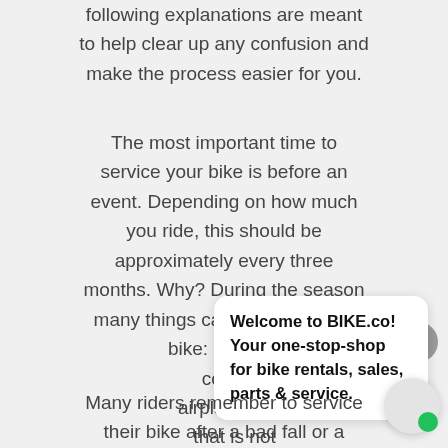following explanations are meant to help clear up any confusion and make the process easier for you.
The most important time to service your bike is before an event. Depending on how much you ride, this should be approximately every three months. Why? During the season many things can occur with the bike: riding in condition airplanes c that is not
[Figure (other): Chat popup overlay with text: Welcome to BIKE.co! Your one-stop-shop for bike rentals, sales, parts & service.]
Many riders remember to service their bike after a bad fall or a major impact. Most of us, however,